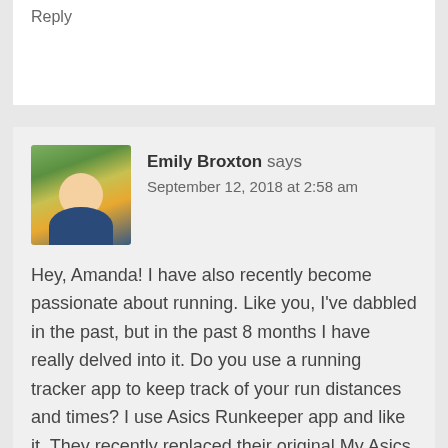Reply
Emily Broxton says
September 12, 2018 at 2:58 am
Hey, Amanda! I have also recently become passionate about running. Like you, I've dabbled in the past, but in the past 8 months I have really delved into it. Do you use a running tracker app to keep track of your run distances and times? I use Asics Runkeeper app and like it. They recently replaced their original My Asics app with this and it is much improved. Let me know if you have any other suggestions!